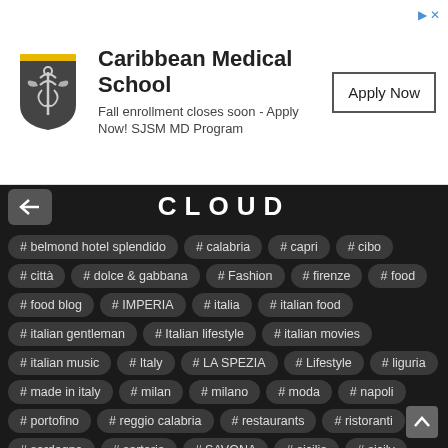[Figure (other): Caribbean Medical School advertisement banner with shield logo, text 'Fall enrollment closes soon - Apply Now! SJSM MD Program', and an 'Apply Now' button]
CLOUD
# belmond hotel splendido
# calabria
# capri
# cibo
# città
# dolce & gabbana
# Fashion
# firenze
# food
# food blog
# IMPERIA
# italia
# italian food
# italian gentleman
# Italian lifestyle
# italian movies
# italian music
# Italy
# LA SPEZIA
# Lifestyle
# liguria
# made in italy
# milan
# milano
# moda
# napoli
# portofino
# reggio calabria
# restaurants
# ristoranti
# sardegna
# sartoria
# SAVONA
# sicilia
# sicily
# sponsored
# sponsorizzato
# travel blog
# travel blogger
# travelling
# veneto
# venice
# viaggi
# viaggiare
# vincenzo girasoli